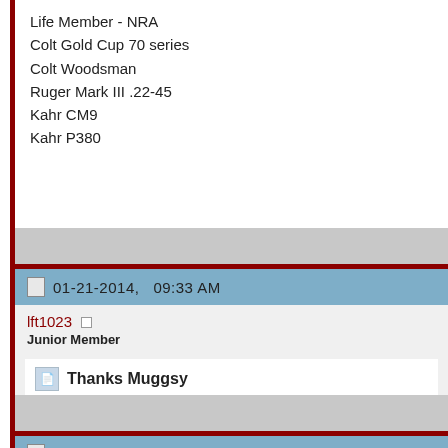Life Member - NRA
Colt Gold Cup 70 series
Colt Woodsman
Ruger Mark III .22-45
Kahr CM9
Kahr P380
01-21-2014,   09:33 AM
lft1023
Junior Member
Thanks Muggsy
I have talked with a guy I know who has a FFL and has agreed to s to get permission from Kahr to allow him to ship it for me. Having tr assuming they were all at the Shot Show and are playing catch-up
01-21-2014,   10:00 AM